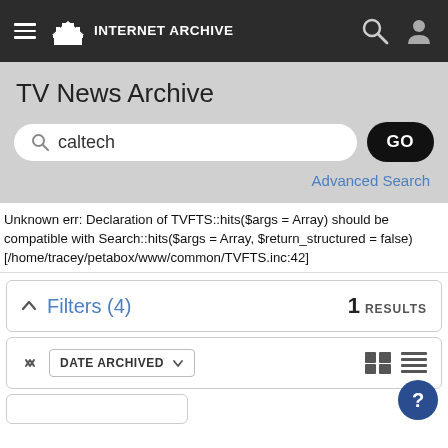INTERNET ARCHIVE
TV News Archive
caltech
Advanced Search
Unknown err: Declaration of TVFTS::hits($args = Array) should be compatible with Search::hits($args = Array, $return_structured = false) [/home/tracey/petabox/www/common/TVFTS.inc:42]
Filters (4)
1 RESULTS
DATE ARCHIVED